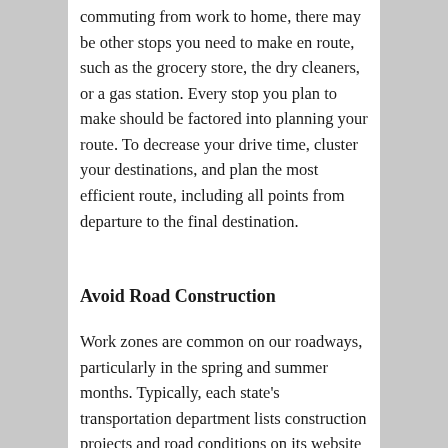commuting from work to home, there may be other stops you need to make en route, such as the grocery store, the dry cleaners, or a gas station. Every stop you plan to make should be factored into planning your route. To decrease your drive time, cluster your destinations, and plan the most efficient route, including all points from departure to the final destination.
Avoid Road Construction
Work zones are common on our roadways, particularly in the spring and summer months. Typically, each state's transportation department lists construction projects and road conditions on its website for your convenience the